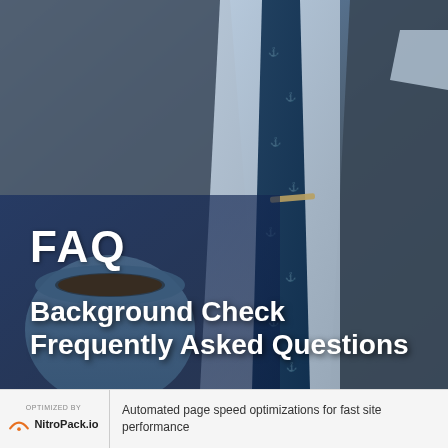[Figure (photo): Close-up photo of a man in a dark suit jacket with a navy blue anchor-patterned tie and white shirt, with a coffee cup visible in lower left]
FAQ
Background Check Frequently Asked Questions
OPTIMIZED BY NitroPack.io — Automated page speed optimizations for fast site performance